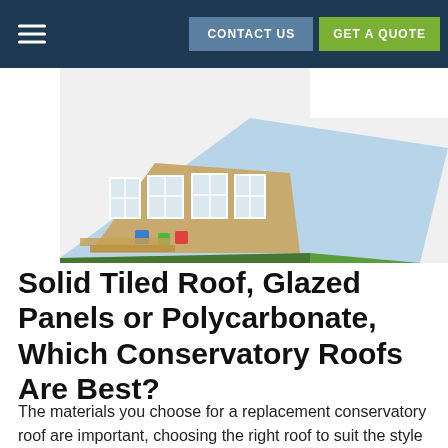≡  CONTACT US  GET A QUOTE
[Figure (photo): Angled/tilted photograph of a conservatory with colourful chairs on a lawn, showing glazed panels and garden furniture.]
Solid Tiled Roof, Glazed Panels or Polycarbonate, Which Conservatory Roofs Are Best?
The materials you choose for a replacement conservatory roof are important, choosing the right roof to suit the style of your home and your lifestyle has never been easier with our